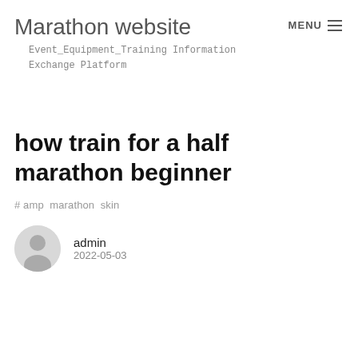Marathon website
Event_Equipment_Training Information Exchange Platform
MENU
how train for a half marathon beginner
# amp  marathon  skin
admin
2022-05-03